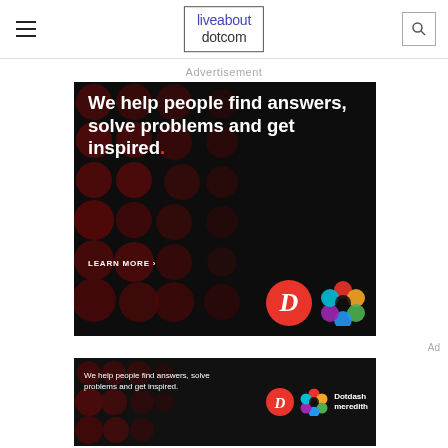liveabout dotcom
Advertisement
[Figure (illustration): Dotdash Meredith advertisement on black background with dark red circles pattern. White bold text reads: We help people find answers, solve problems and get inspired. (with red period). LEARN MORE arrow. Dotdash D logo in red circle and colorful Meredith flower logo.]
Ad
[Figure (illustration): Small Dotdash Meredith banner ad on black background. Text: We help people find answers, solve problems and get inspired. With Dotdash D logo, colorful Meredith flower logo, and Dotdash meredith text in white.]